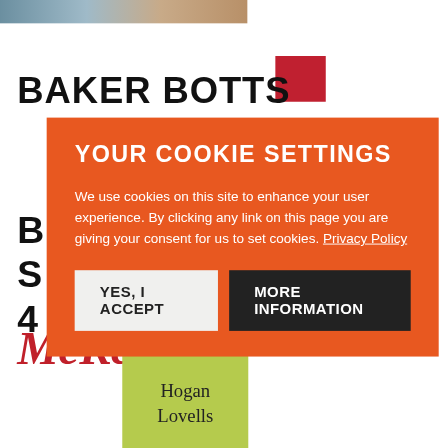[Figure (photo): Partial photo strip showing people, partially cropped at top of page]
[Figure (logo): Baker Botts law firm logo in bold black text with red square accent]
YOUR COOKIE SETTINGS
We use cookies on this site to enhance your user experience. By clicking any link on this page you are giving your consent for us to set cookies. Privacy Policy
YES, I ACCEPT
MORE INFORMATION
[Figure (logo): McKenzie law firm logo in red italic serif font]
[Figure (logo): Hogan Lovells logo in green/yellow-green square background with serif text]